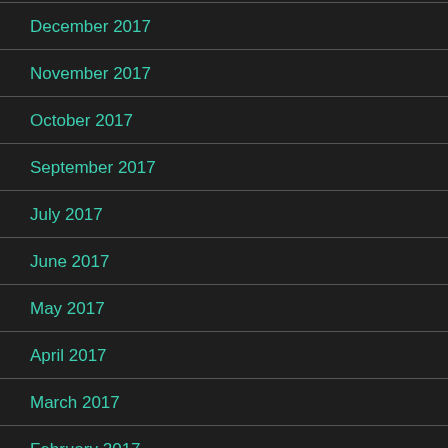December 2017
November 2017
October 2017
September 2017
July 2017
June 2017
May 2017
April 2017
March 2017
February 2017
January 2017